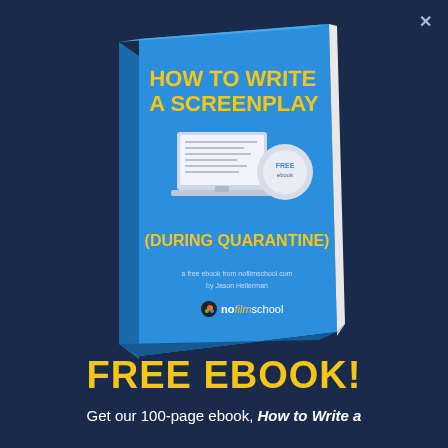[Figure (illustration): 3D book cover titled 'How to Write a Screenplay (During Quarantine)' with blue cover, yellow text, laptop and award badge illustration, nofilmschool.com branding, authored by Jason Hellerman]
FREE EBOOK!
Get our 100-page ebook, How to Write a